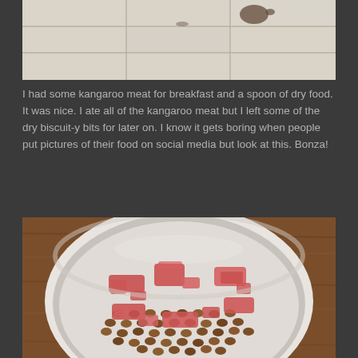[Figure (photo): Top portion of a tiled floor with some dark spots/stains on it, cropped view from above]
I had some kangaroo meat for breakfast and a spoon of dry food. It was nice. I ate all of the kangaroo meat but I left some of the dry biscuit-y bits for later on. I know it gets boring when people put pictures of their food on social media but look at this. Bonza!
[Figure (photo): A white bowl filled with dry brown dog kibble and pink/red chunks of kangaroo meat, sitting on a wooden surface, viewed from above]